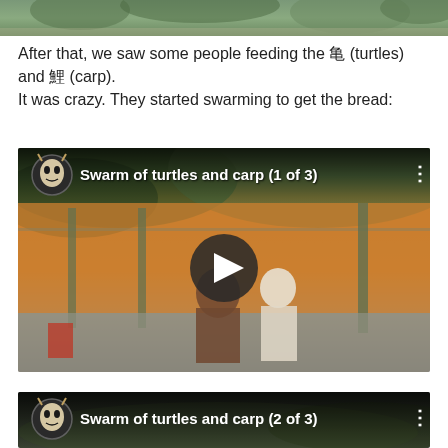[Figure (photo): Partial view of outdoor/nature scene at the top of the page, cropped image showing greenery]
After that, we saw some people feeding the 亀 (turtles) and 鯉 (carp).
It was crazy. They started swarming to get the bread:
[Figure (screenshot): Embedded YouTube video thumbnail showing 'Swarm of turtles and carp (1 of 3)' with channel icon, play button, outdoor scene with people near what appears to be a pond area]
[Figure (screenshot): Embedded YouTube video thumbnail showing 'Swarm of turtles and carp (2 of 3)' with channel icon, dark outdoor/nature background, partially visible at bottom of page]